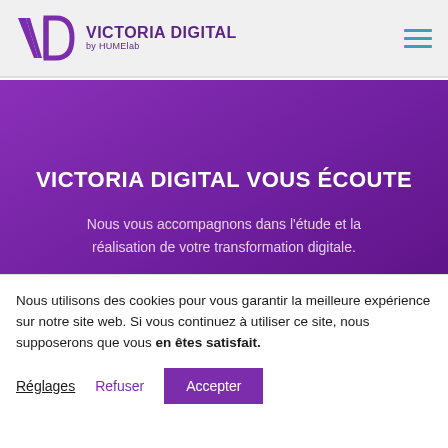VICTORIA DIGITAL by HUMElab
VICTORIA DIGITAL VOUS ÉCOUTE
Nous vous accompagnons dans l'étude et la réalisation de votre transformation digitale.
Nous utilisons des cookies pour vous garantir la meilleure expérience sur notre site web. Si vous continuez à utiliser ce site, nous supposerons que vous en êtes satisfait.
Réglages
Refuser
Accepter